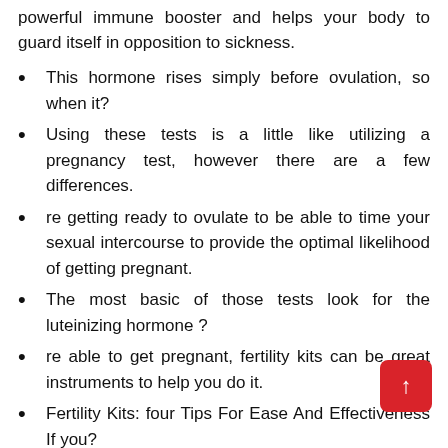powerful immune booster and helps your body to guard itself in opposition to sickness.
This hormone rises simply before ovulation, so when it?
Using these tests is a little like utilizing a pregnancy test, however there are a few differences.
re getting ready to ovulate to be able to time your sexual intercourse to provide the optimal likelihood of getting pregnant.
The most basic of those tests look for the luteinizing hormone ?
re able to get pregnant, fertility kits can be great instruments to help you do it.
Fertility Kits: four Tips For Ease And Effectiveness If you?